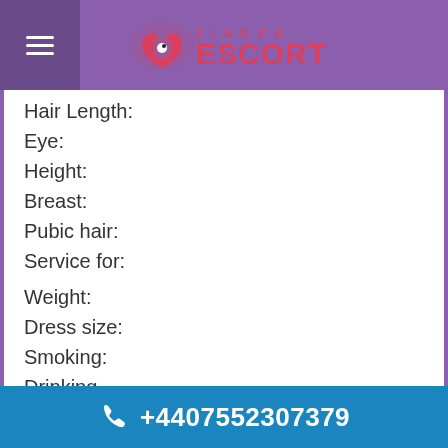FINDER ESCORT
Hair Length:
Eye:
Height:
Breast:
Pubic hair:
Service for:
Weight:
Dress size:
Smoking:
Drinking
Orientation:
Tattoo:
Piercings:
Languages:
+4407552307379